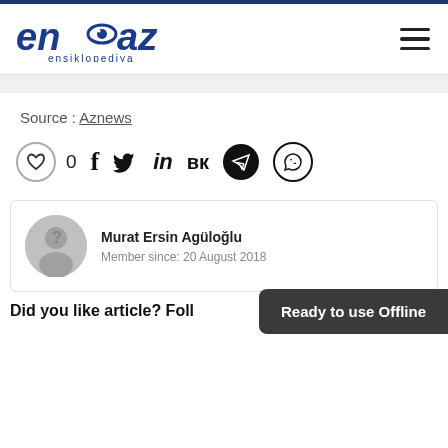[Figure (logo): ensaz enkiklopediya logo - stylized text with eye graphic]
Source : Aznews
[Figure (infographic): Social sharing icons row: heart/like (0), Facebook, Twitter, LinkedIn, VK, Telegram, WhatsApp]
[Figure (illustration): Author card with avatar placeholder showing question mark, name Murat Ersin Agüloğlu, Member since: 20 August 2018]
Did you like article? Foll
Ready to use Offline